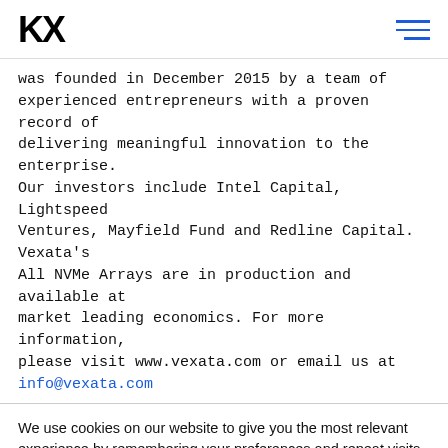KX [logo] [hamburger menu icon]
was founded in December 2015 by a team of experienced entrepreneurs with a proven record of delivering meaningful innovation to the enterprise. Our investors include Intel Capital, Lightspeed Ventures, Mayfield Fund and Redline Capital. Vexata's All NVMe Arrays are in production and available at market leading economics. For more information, please visit www.vexata.com or email us at info@vexata.com
We use cookies on our website to give you the most relevant experience by remembering your preferences and repeat visits. For more information please read our Cookies Policy By clicking "Accept", you consent to the use of ALL the cookies.
Cookie settings | ACCEPT